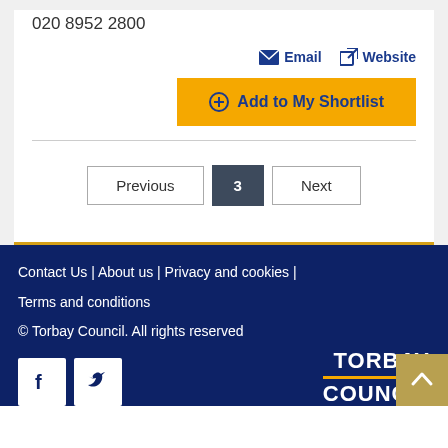020 8952 2800
Email   Website
Add to My Shortlist
Previous  3  Next
Contact Us | About us | Privacy and cookies | Terms and conditions
© Torbay Council. All rights reserved
TORBAY COUNCIL